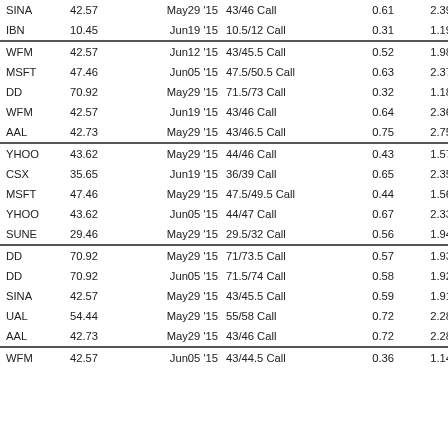| Symbol | Price | Expiry | Strike/Type | Col5 | Col6 |
| --- | --- | --- | --- | --- | --- |
| SINA | 42.57 | May29 '15 | 43/46 Call | 0.61 | 2.39 |
| IBN | 10.45 | Jun19 '15 | 10.5/12 Call | 0.31 | 1.19 |
| WFM | 42.57 | Jun12 '15 | 43/45.5 Call | 0.52 | 1.98 |
| MSFT | 47.46 | Jun05 '15 | 47.5/50.5 Call | 0.63 | 2.37 |
| DD | 70.92 | May29 '15 | 71.5/73 Call | 0.32 | 1.18 |
| WFM | 42.57 | Jun19 '15 | 43/46 Call | 0.64 | 2.36 |
| AAL | 42.73 | May29 '15 | 43/46.5 Call | 0.75 | 2.75 |
| YHOO | 43.62 | May29 '15 | 44/46 Call | 0.43 | 1.57 |
| CSX | 35.65 | Jun19 '15 | 36/39 Call | 0.65 | 2.35 |
| MSFT | 47.46 | May29 '15 | 47.5/49.5 Call | 0.44 | 1.56 |
| YHOO | 43.62 | Jun05 '15 | 44/47 Call | 0.67 | 2.33 |
| SUNE | 29.46 | May29 '15 | 29.5/32 Call | 0.56 | 1.94 |
| DD | 70.92 | May29 '15 | 71/73.5 Call | 0.57 | 1.93 |
| DD | 70.92 | Jun05 '15 | 71.5/74 Call | 0.58 | 1.92 |
| SINA | 42.57 | May29 '15 | 43/45.5 Call | 0.59 | 1.91 |
| UAL | 54.44 | May29 '15 | 55/58 Call | 0.72 | 2.28 |
| AAL | 42.73 | May29 '15 | 43/46 Call | 0.72 | 2.28 |
| WFM | 42.57 | Jun05 '15 | 43/44.5 Call | 0.36 | 1.14 |